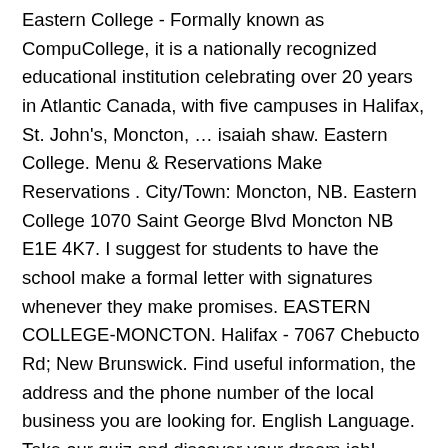Eastern College - Formally known as CompuCollege, it is a nationally recognized educational institution celebrating over 20 years in Atlantic Canada, with five campuses in Halifax, St. John's, Moncton, … isaiah shaw. Eastern College. Menu & Reservations Make Reservations . City/Town: Moncton, NB. Eastern College 1070 Saint George Blvd Moncton NB E1E 4K7. I suggest for students to have the school make a formal letter with signatures whenever they make promises. EASTERN COLLEGE-MONCTON. Halifax - 7067 Chebucto Rd; New Brunswick. Find useful information, the address and the phone number of the local business you are looking for. English Language. Take our quiz and discover your dream job! Eastern College's Moncton campus is located at 1070 St. George Blvd, just west of Wheeler Blvd.The Moncton … View Availability by Month. Halifax. Bryan Corbin E-Discovery Analyst at MT>3, formerly Wortzmans, a Division of McCarthy Tétrault LLP Burnaby, BC. Eastern College 1070 Saint George Blvd Moncton NB E1E